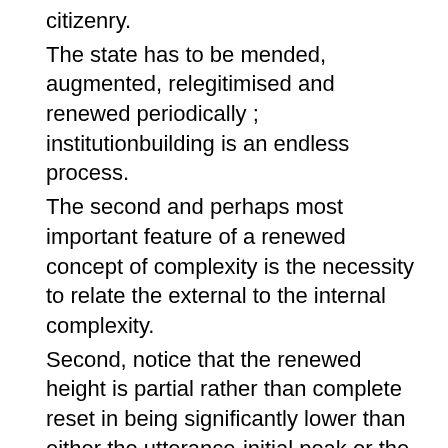citizenry.
The state has to be mended, augmented, relegitimised and renewed periodically ; institutionbuilding is an endless process.
The second and perhaps most important feature of a renewed concept of complexity is the necessity to relate the external to the internal complexity.
Second, notice that the renewed height is partial rather than complete reset in being significantly lower than either the utterance-initial peak or the upstepped peak.
When this stage is reached, the renewed growth in the supply of educated labor drives the education premium down again.
In addition to the language syllabus, there was a renewed interest in the skills, but for contextualized communication.